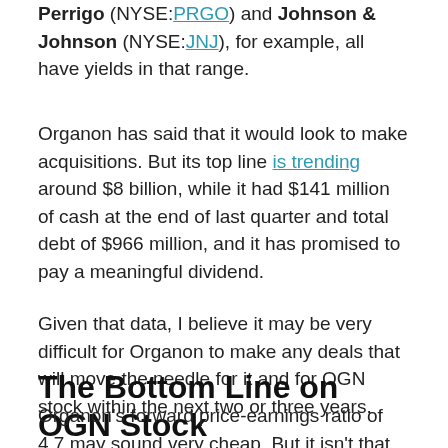Perrigo (NYSE:PRGO) and Johnson & Johnson (NYSE:JNJ), for example, all have yields in that range.
Organon has said that it would look to make acquisitions. But its top line is trending around $8 billion, while it had $141 million of cash at the end of last quarter and total debt of $966 million, and it has promised to pay a meaningful dividend.
Given that data, I believe it may be very difficult for Organon to make any deals that will move the needle for it and for OGN stock within the next two or three years.
The Bottom Line on OGN Stock
Organon's forward price-earnings ratio of 4.7 may sound very cheap. But it isn't that much lower than a number of